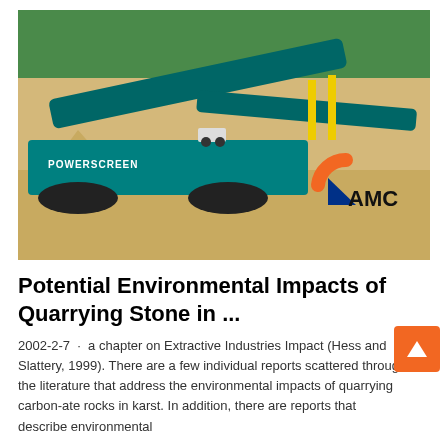[Figure (photo): Aerial/ground-level photo of a quarry site with a large teal Powerscreen industrial screening/crushing machine in the foreground on sandy terrain, with trees in the background. AMC logo overlay on lower right of the image.]
Potential Environmental Impacts of Quarrying Stone in ...
2002-2-7 · a chapter on Extractive Industries Impact (Hess and Slattery, 1999). There are a few individual reports scattered through the literature that address the environmental impacts of quarrying carbon-ate rocks in karst. In addition, there are reports that describe environmental